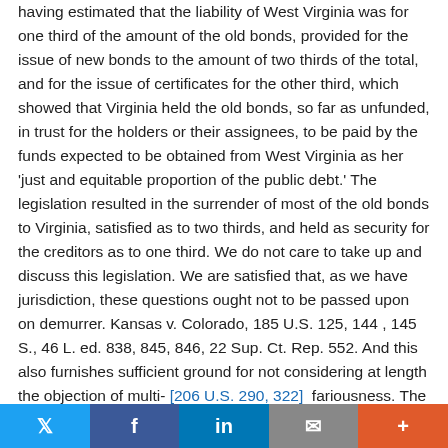having estimated that the liability of West Virginia was for one third of the amount of the old bonds, provided for the issue of new bonds to the amount of two thirds of the total, and for the issue of certificates for the other third, which showed that Virginia held the old bonds, so far as unfunded, in trust for the holders or their assignees, to be paid by the funds expected to be obtained from West Virginia as her 'just and equitable proportion of the public debt.' The legislation resulted in the surrender of most of the old bonds to Virginia, satisfied as to two thirds, and held as security for the creditors as to one third. We do not care to take up and discuss this legislation. We are satisfied that, as we have jurisdiction, these questions ought not to be passed upon on demurrer. Kansas v. Colorado, 185 U.S. 125, 144 , 145 S., 46 L. ed. 838, 845, 846, 22 Sup. Ct. Rep. 552. And this also furnishes sufficient ground for not considering at length the objection of multi- [206 U.S. 290, 322]  fariousness. The
Twitter | Facebook | LinkedIn | Email | +